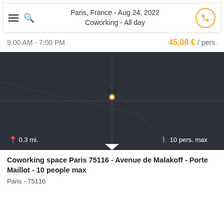Paris, France - Aug 24, 2022
Coworking - All day
9:00 AM - 7:00 PM
45,00 € / pers.
[Figure (map): Dark-themed map of Paris area showing location, with distance label 0.3 mi. and capacity 10 pers. max]
Coworking space Paris 75116 - Avenue de Malakoff - Porte Maillot - 10 people max
Paris - 75116